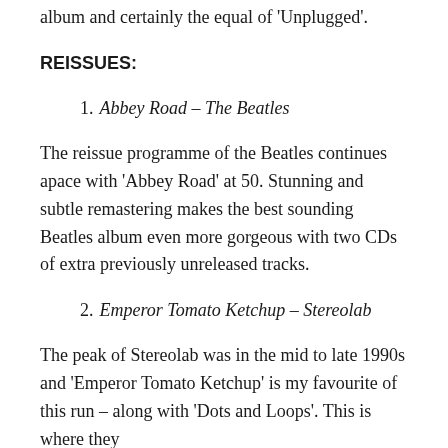album and certainly the equal of 'Unplugged'.
REISSUES:
1. Abbey Road – The Beatles
The reissue programme of the Beatles continues apace with 'Abbey Road' at 50. Stunning and subtle remastering makes the best sounding Beatles album even more gorgeous with two CDs of extra previously unreleased tracks.
2. Emperor Tomato Ketchup – Stereolab
The peak of Stereolab was in the mid to late 1990s and 'Emperor Tomato Ketchup' is my favourite of this run – along with 'Dots and Loops'. This is where they